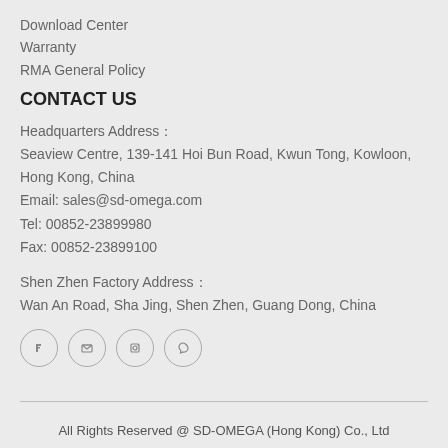Download Center
Warranty
RMA General Policy
CONTACT US
Headquarters Address：
Seaview Centre, 139-141 Hoi Bun Road, Kwun Tong, Kowloon, Hong Kong, China
Email: sales@sd-omega.com
Tel: 00852-23899980
Fax: 00852-23899100
Shen Zhen Factory Address：
Wan An Road, Sha Jing, Shen Zhen, Guang Dong, China
[Figure (other): Four social media icon circles (Facebook, Twitter, LinkedIn, Pinterest)]
All Rights Reserved @ SD-OMEGA (Hong Kong) Co., Ltd